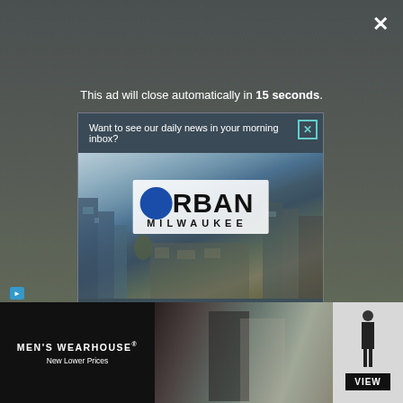This ad will close automatically in 15 seconds.
Want to see our daily news in your morning inbox?
[Figure (photo): Urban Milwaukee logo over aerial city skyline photo]
Click here to subscribe today!
Docto... Imme...
[Figure (photo): Men's Wearhouse advertisement showing couple in formal wear and a suited man figure with VIEW button]